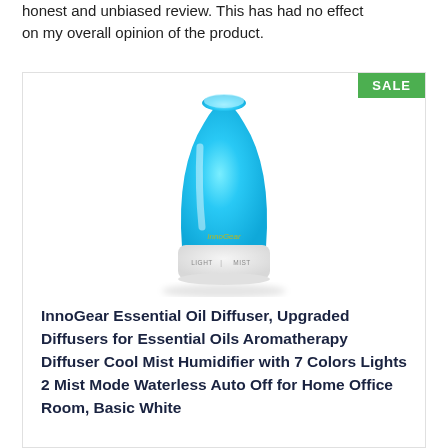honest and unbiased review. This has had no effect on my overall opinion of the product.
[Figure (photo): InnoGear Essential Oil Diffuser product photo showing a vase-shaped diffuser glowing in blue light with white base, LIGHT and MIST buttons visible, with a green SALE badge in top-right corner]
InnoGear Essential Oil Diffuser, Upgraded Diffusers for Essential Oils Aromatherapy Diffuser Cool Mist Humidifier with 7 Colors Lights 2 Mist Mode Waterless Auto Off for Home Office Room, Basic White